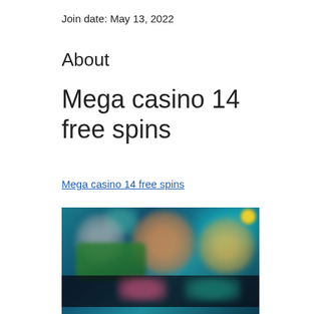Join date: May 13, 2022
About
Mega casino 14 free spins
Mega casino 14 free spins
[Figure (photo): Blurred screenshot of a casino game interface with colorful characters and game thumbnails on a teal/dark background.]